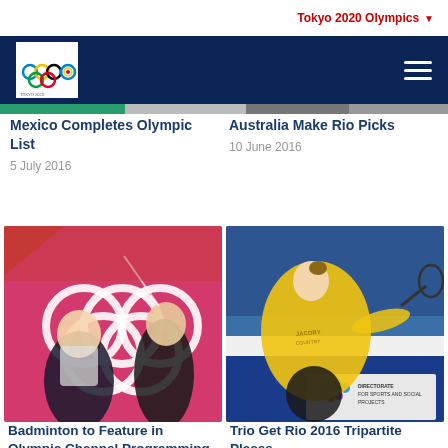Tokyo 2020 Olympics
[Figure (logo): Tokyo 2020 Olympics and Paralympics logo with Olympic rings]
Mexico Completes Olympic List
5 July 2016
Australia Make Rio Picks
10 June 2016
[Figure (photo): Two South Korean badminton players in action at what appears to be the London Olympics, with the Olympic rings visible on a pink background]
[Figure (photo): Female badminton player in yellow shirt reaching for a shot, with Directorate for Sports and Social Projects banner visible]
Badminton to Feature in Olympic Channel Programming
7 June 2016
Trio Get Rio 2016 Tripartite Places
25 May 2016